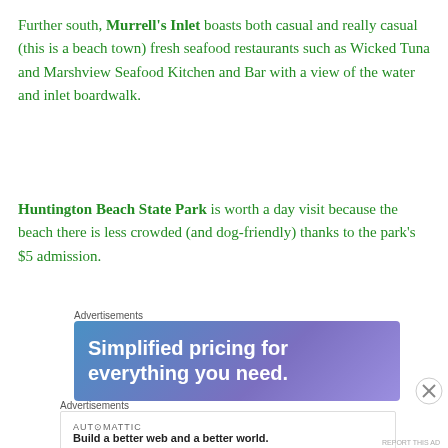Further south, Murrell's Inlet boasts both casual and really casual (this is a beach town) fresh seafood restaurants such as Wicked Tuna and Marshview Seafood Kitchen and Bar with a view of the water and inlet boardwalk.
Huntington Beach State Park is worth a day visit because the beach there is less crowded (and dog-friendly) thanks to the park's $5 admission.
Advertisements
[Figure (other): Advertisement banner with blue-purple gradient background and white text reading 'Simplified pricing for everything you need.']
Advertisements
[Figure (other): Automattic advertisement: 'Build a better web and a better world.']